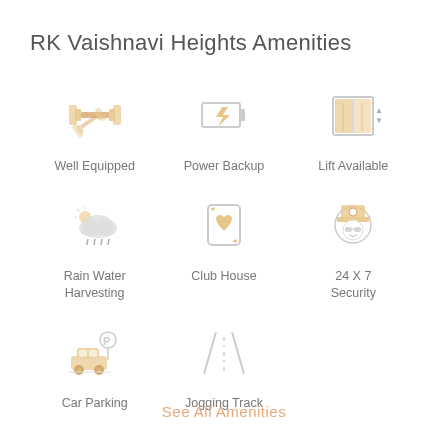RK Vaishnavi Heights Amenities
[Figure (infographic): Grid of 8 amenity icons with labels: Well Equipped (dumbbell icon), Power Backup (battery/lightning icon), Lift Available (elevator icon), Rain Water Harvesting (rain cloud icon), Club House (playing card icon), 24 X 7 Security (security guard icon), Car Parking (car with parking sign icon), Jogging Track (road/track icon)]
See All Amenities